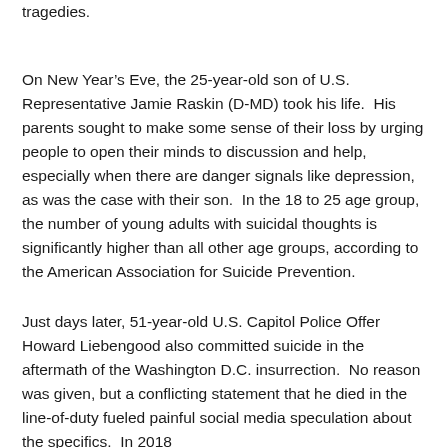tragedies.
On New Year's Eve, the 25-year-old son of U.S. Representative Jamie Raskin (D-MD) took his life.  His parents sought to make some sense of their loss by urging people to open their minds to discussion and help, especially when there are danger signals like depression, as was the case with their son.  In the 18 to 25 age group, the number of young adults with suicidal thoughts is significantly higher than all other age groups, according to the American Association for Suicide Prevention.
Just days later, 51-year-old U.S. Capitol Police Offer Howard Liebengood also committed suicide in the aftermath of the Washington D.C. insurrection.  No reason was given, but a conflicting statement that he died in the line-of-duty fueled painful social media speculation about the specifics.  In 2018...